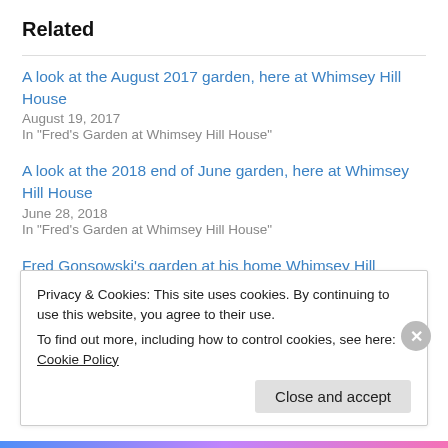Related
A look at the August 2017 garden, here at Whimsey Hill House
August 19, 2017
In "Fred's Garden at Whimsey Hill House"
A look at the 2018 end of June garden, here at Whimsey Hill House
June 28, 2018
In "Fred's Garden at Whimsey Hill House"
Fred Gonsowski’s garden at his home Whimsey Hill House… August 2016
August 10, 2016
Privacy & Cookies: This site uses cookies. By continuing to use this website, you agree to their use.
To find out more, including how to control cookies, see here: Cookie Policy